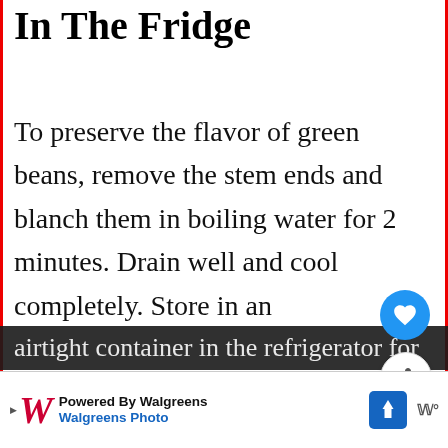In The Fridge
To preserve the flavor of green beans, remove the stem ends and blanch them in boiling water for 2 minutes. Drain well and cool completely. Store in an airtight container in the refrigerator for
[Figure (screenshot): UI overlay elements: blue heart button, share button, and 'What's Next' promo card showing garlic powder content]
[Figure (screenshot): Advertisement bar: Powered By Walgreens, Walgreens Photo with logo and blue arrow icon]